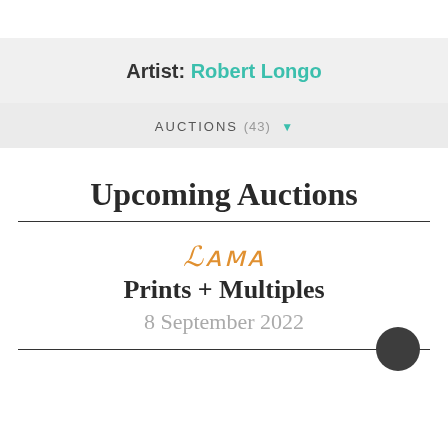Artist: Robert Longo
AUCTIONS (43)
Upcoming Auctions
LAMA
Prints + Multiples
8 September 2022